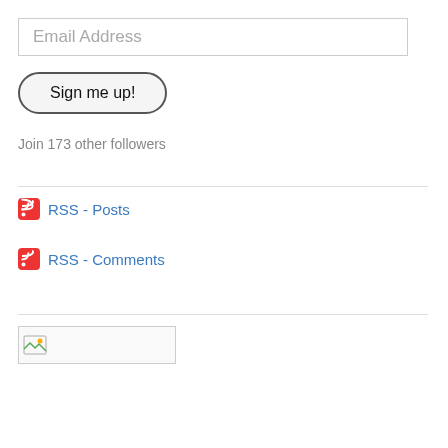Email Address
Sign me up!
Join 173 other followers
RSS - Posts
RSS - Comments
[Figure (other): Broken image placeholder with small icon in a bordered box]